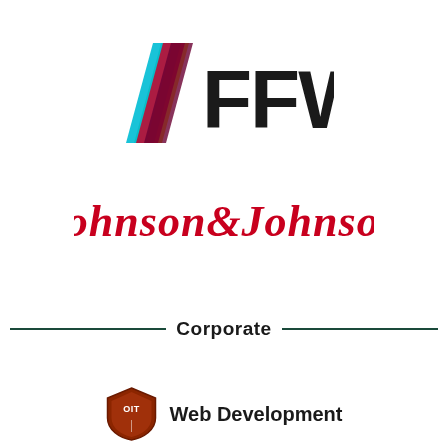[Figure (logo): FFW logo with colorful diagonal stripes (cyan, green, red, magenta, yellow) and bold black 'FFW' text]
[Figure (logo): Johnson & Johnson red cursive script logo]
Corporate
[Figure (logo): OIT shield logo with 'Web Development' text in bold]